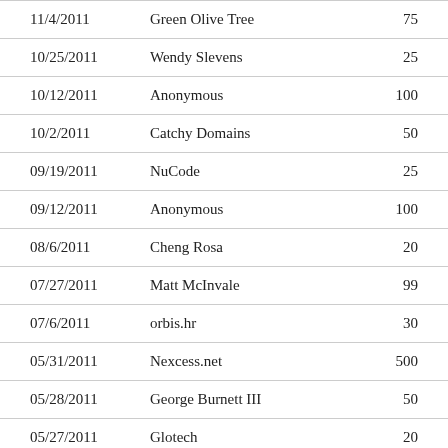| Date | Name | Amount |
| --- | --- | --- |
| 11/4/2011 | Green Olive Tree | 75 |
| 10/25/2011 | Wendy Slevens | 25 |
| 10/12/2011 | Anonymous | 100 |
| 10/2/2011 | Catchy Domains | 50 |
| 09/19/2011 | NuCode | 25 |
| 09/12/2011 | Anonymous | 100 |
| 08/6/2011 | Cheng Rosa | 20 |
| 07/27/2011 | Matt McInvale | 99 |
| 07/6/2011 | orbis.hr | 30 |
| 05/31/2011 | Nexcess.net | 500 |
| 05/28/2011 | George Burnett III | 50 |
| 05/27/2011 | Glotech | 20 |